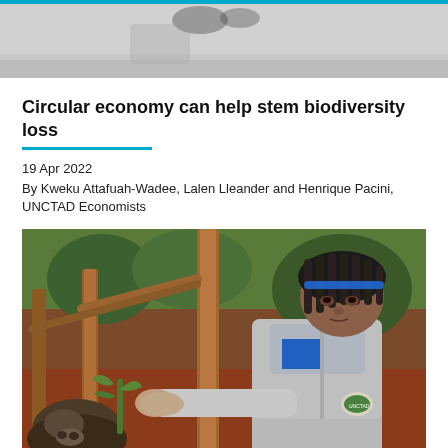[Figure (photo): Partial top image — cropped photo showing blurry silhouette, teal/cyan bar at top]
Circular economy can help stem biodiversity loss
19 Apr 2022
By Kweku Attafuah-Wadee, Lalen Lleander and Henrique Pacini, UNCTAD Economists
[Figure (photo): A woman with braided hair wearing a grey hoodie and blue shirt, tending to an animal (appears to be a buffalo/calf) in a rural outdoor setting with wooden posts and red soil.]